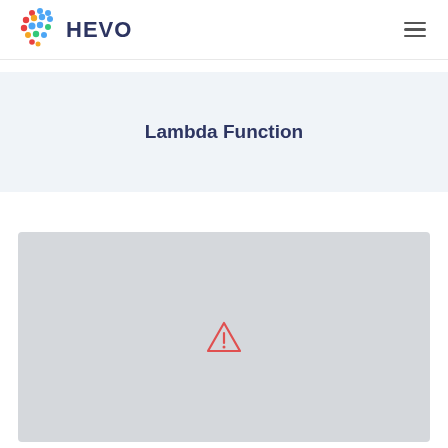HEVO
Lambda Function
[Figure (other): Gray placeholder image box with a red warning/triangle icon in the center]